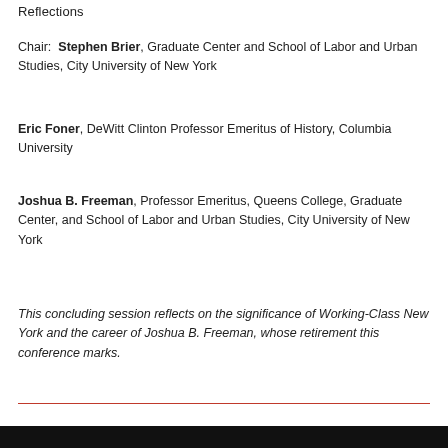Reflections
Chair: Stephen Brier, Graduate Center and School of Labor and Urban Studies, City University of New York
Eric Foner, DeWitt Clinton Professor Emeritus of History, Columbia University
Joshua B. Freeman, Professor Emeritus, Queens College, Graduate Center, and School of Labor and Urban Studies, City University of New York
This concluding session reflects on the significance of Working-Class New York and the career of Joshua B. Freeman, whose retirement this conference marks.